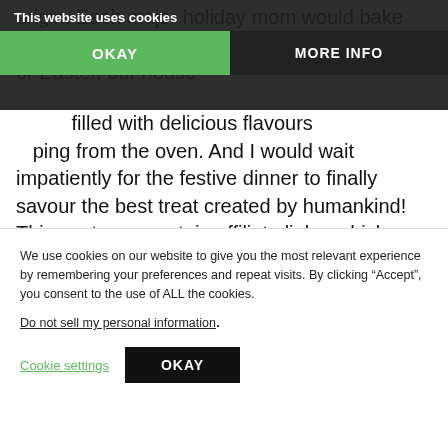origin. Each major holiday mom would bake the best treat there could be. Be it Christmas or Easter, our house [was filled] with delicious flavours [com]ing from the oven. And I would wait impatiently for the festive dinner to finally savour the best treat created by humankind! This post may contain affiliate links, which means I will receive a commission if you purchase through my links at no...
This website uses cookies
OKAY
MORE INFO
Sharing is caring!
[Figure (screenshot): Row of social share buttons: Facebook (blue), Twitter (light blue), Pinterest (red, badge showing 263), LinkedIn (blue), WhatsApp (green), Email (gray), Print (green)]
We use cookies on our website to give you the most relevant experience by remembering your preferences and repeat visits. By clicking “Accept”, you consent to the use of ALL the cookies.
Do not sell my personal information.
Cookie settings
OKAY